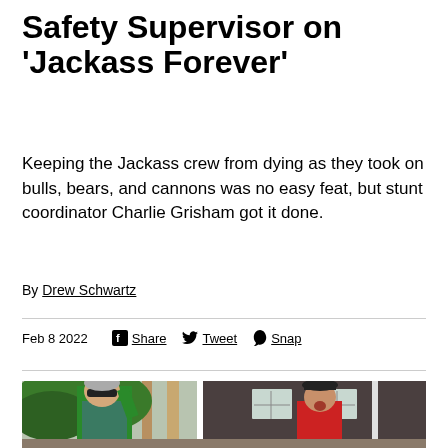Safety Supervisor on 'Jackass Forever'
Keeping the Jackass crew from dying as they took on bulls, bears, and cannons was no easy feat, but stunt coordinator Charlie Grisham got it done.
By Drew Schwartz
Feb 8 2022  Share  Tweet  Snap
[Figure (photo): Two people outdoors near a wooden structure and house with white windows. One person on left wears a green cardigan and sunglasses, appears to be speaking. Another person on right wears a red shirt and black hat, mouth open.]